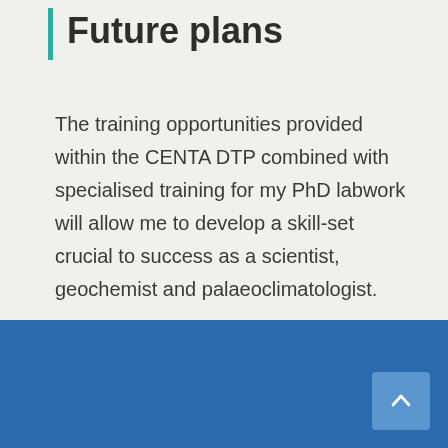Future plans
The training opportunities provided within the CENTA DTP combined with specialised training for my PhD labwork will allow me to develop a skill-set crucial to success as a scientist, geochemist and palaeoclimatologist.